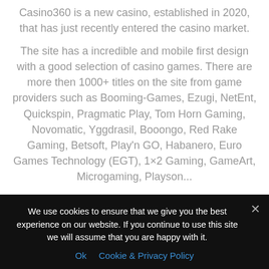Casino360 is a new casino, established in 2020, that has just recently entered the casino market.
The site has a incredible and mobile first design with a good selection of casino games. There are more then 1000+ titles on the site from game providers such as Booming-Games, Ezugi, NetEnt, Quickspin, Pragmatic Play, Tom Horn Gaming, Novomatic, Yggdrasil, Booongo, Red Rake Gaming, Betsoft, Play'n GO, Habanero, Euro Games Technology (EGT), 1×2 Gaming, GameArt, Microgaming, Playson...
We use cookies to ensure that we give you the best experience on our website. If you continue to use this site we will assume that you are happy with it.
Ok   Cookie & Privacy Policy